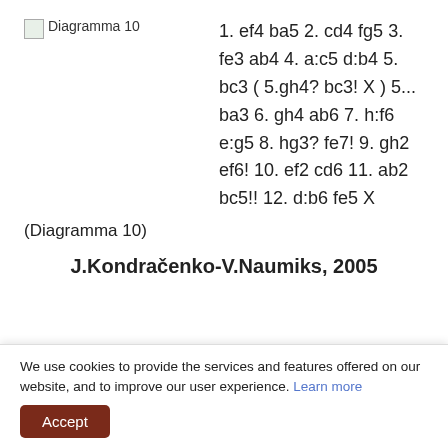[Figure (other): Broken image placeholder labeled 'Diagramma 10']
1. ef4 ba5 2. cd4 fg5 3. fe3 ab4 4. a:c5 d:b4 5. bc3 ( 5.gh4? bc3! X ) 5... ba3 6. gh4 ab6 7. h:f6 e:g5 8. hg3? fe7! 9. gh2 ef6! 10. ef2 cd6 11. ab2 bc5!! 12. d:b6 fe5 X
(Diagramma 10)
J.Kondračenko-V.Naumiks, 2005
We use cookies to provide the services and features offered on our website, and to improve our user experience. Learn more